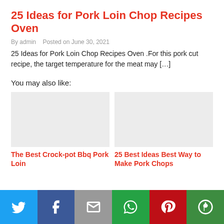25 Ideas for Pork Loin Chop Recipes Oven
By admin   Posted on June 30, 2021
25 Ideas for Pork Loin Chop Recipes Oven .For this pork cut recipe, the target temperature for the meat may […]
You may also like:
[Figure (photo): Placeholder image for The Best Crock-pot Bbq Pork Loin]
The Best Crock-pot Bbq Pork Loin
[Figure (photo): Placeholder image for 25 Best Ideas Best Way to Make Pork Chops]
25 Best Ideas Best Way to Make Pork Chops
Social share bar: Twitter, Facebook, Email, WhatsApp, Pinterest, More